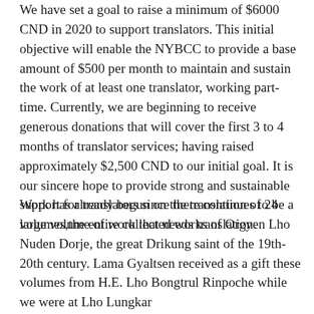We have set a goal to raise a minimum of $6000 CND in 2020 to support translators. This initial objective will enable the NYBCC to provide a base amount of $500 per month to maintain and sustain the work of at least one translator, working part-time. Currently, we are beginning to receive generous donations that will cover the first 3 to 4 months of translator services; having raised approximately $2,500 CND to our initial goal. It is our sincere hope to provide strong and sustainable support for translators since there continues to be a large volume of work that needs translation.
Work has already begun on the translation of 24 volumes,the entire collected works of Orgyen Lho Nuden Dorje, the great Drikung saint of the 19th-20th century. Lama Gyaltsen received as a gift these volumes from H.E. Lho Bongtrul Rinpoche while we were at Lho Lungkar